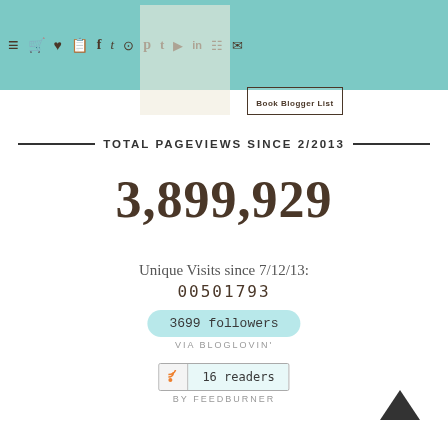Navigation header bar with icons: menu, cart, heart, bookmark, facebook, twitter, instagram, pinterest, tumblr, youtube, linkedin, rss, email. Book Blogger List badge.
TOTAL PAGEVIEWS SINCE 2/2013
3,899,929
Unique Visits since 7/12/13: 00501793
3699 followers VIA BLOGLOVIN'
16 readers BY FEEDBURNER